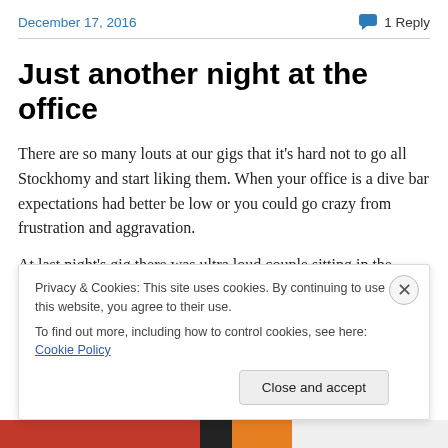December 17, 2016   1 Reply
Just another night at the office
There are so many louts at our gigs that it’s hard not to go all Stockhomy and start liking them.  When your office is a dive bar expectations had better be low or you could go crazy from frustration and aggravation.
At last night’s gig there was ultra loud couple sitting in the
Privacy & Cookies: This site uses cookies. By continuing to use this website, you agree to their use.
To find out more, including how to control cookies, see here: Cookie Policy
Close and accept